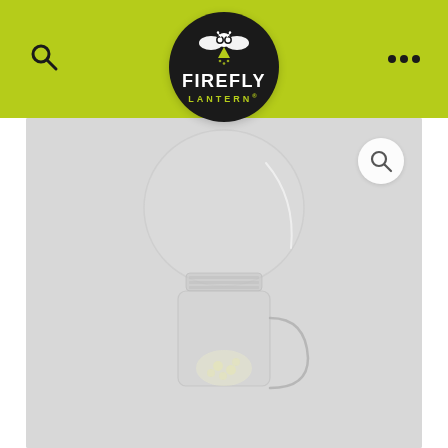[Figure (logo): Firefly Lantern logo: white firefly/bee icon on dark circle, FIREFLY in white bold text, LANTERN in yellow-green below, set on yellow-green navigation bar with search icon left and three dots right]
[Figure (photo): Product photo of a clear glass/plastic mason jar lantern with a globe top, shown on a light gray background. The jar base has a textured grip and the globe sits on top. A zoom/search button is in the upper right corner of the image area.]